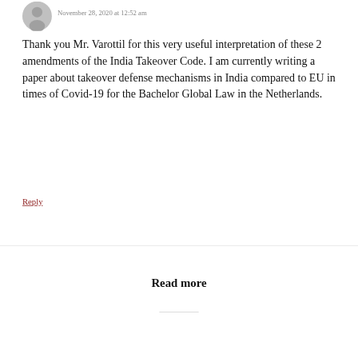November 28, 2020 at 12:52 am
Thank you Mr. Varottil for this very useful interpretation of these 2 amendments of the India Takeover Code. I am currently writing a paper about takeover defense mechanisms in India compared to EU in times of Covid-19 for the Bachelor Global Law in the Netherlands.
Reply
Read more